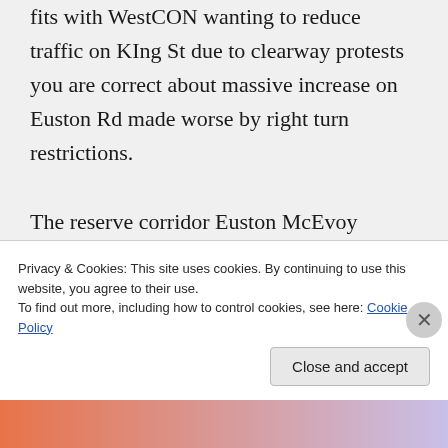fits with WestCON wanting to reduce traffic on KIng St due to clearway protests you are correct about massive increase on Euston Rd made worse by right turn restrictions. The reserve corridor Euston McEvoy Lachlan is not considered as part of WestCON but it is obvious it will be taken up. Why it is not included extra cost to westCON and
Privacy & Cookies: This site uses cookies. By continuing to use this website, you agree to their use. To find out more, including how to control cookies, see here: Cookie Policy